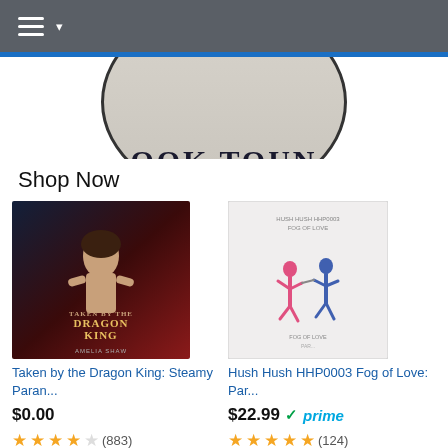[Figure (screenshot): Navigation bar with hamburger menu icon and dropdown arrow on dark gray background]
[Figure (logo): Circular logo with text 'OOK TOUN' visible, partially cropped, on textured background]
Shop Now
[Figure (photo): Book cover: Taken by the Dragon King: Steamy Paran... by Amelia Shaw, showing a shirtless warrior man]
Taken by the Dragon King: Steamy Paran...
$0.00
4.5 stars (883)
[Figure (photo): Book cover: Hush Hush HHP0003 Fog of Love: Par... showing two illustrated dancing figures on white background]
Hush Hush HHP0003 Fog of Love: Par...
$22.99 prime
4.5 stars (124)
[Figure (photo): Bottom left: dark background with cartoon ghost and heart emojis]
[Figure (photo): Bottom right: photo of a man with glasses]